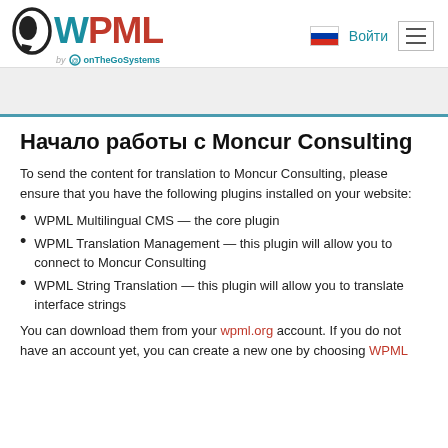[Figure (logo): WPML logo with stylized Q icon, teal W and red PML letters, subtitle 'by onTheGoSystems']
[Figure (illustration): Russian flag icon and 'Войти' (login) button and hamburger menu icon in header nav]
[Figure (illustration): Gray banner below navigation header with teal bottom border]
Начало работы с Moncur Consulting
To send the content for translation to Moncur Consulting, please ensure that you have the following plugins installed on your website:
WPML Multilingual CMS — the core plugin
WPML Translation Management — this plugin will allow you to connect to Moncur Consulting
WPML String Translation — this plugin will allow you to translate interface strings
You can download them from your wpml.org account. If you do not have an account yet, you can create a new one by choosing WPML